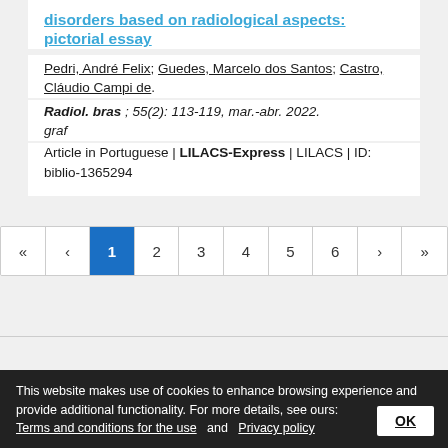disorders based on radiological aspects: pictorial essay
Pedri, André Felix; Guedes, Marcelo dos Santos; Castro, Cláudio Campi de.
Radiol. bras ; 55(2): 113-119, mar.-abr. 2022. graf
Article in Portuguese | LILACS-Express | LILACS | ID: biblio-1365294
Pagination: 1 2 3 4 5 6
This website makes use of cookies to enhance browsing experience and provide additional functionality. For more details, see ours: Terms and conditions for the use and Privacy policy